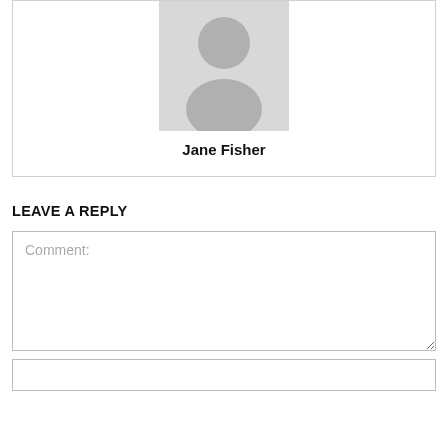[Figure (illustration): Default user avatar placeholder — gray silhouette of a person on a light gray background]
Jane Fisher
LEAVE A REPLY
Comment: